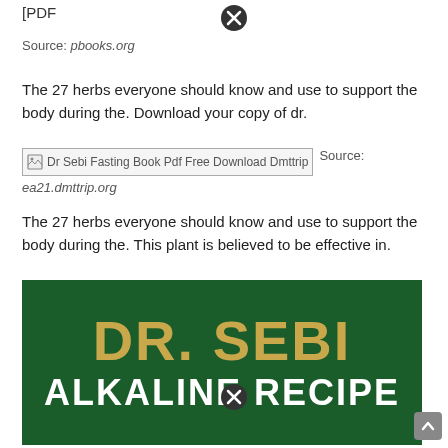[PDF
Source: pbooks.org
The 27 herbs everyone should know and use to support the body during the. Download your copy of dr.
[Figure (other): Broken image placeholder labeled 'Dr Sebi Fasting Book Pdf Free Download Dmttrip' followed by inline 'Source:']
ea21.dmttrip.org
The 27 herbs everyone should know and use to support the body during the. This plant is believed to be effective in.
[Figure (other): Book cover image with dark green background. Large gold text reads 'DR. SEBI' and white text below reads 'ALKALINE RECIPE']